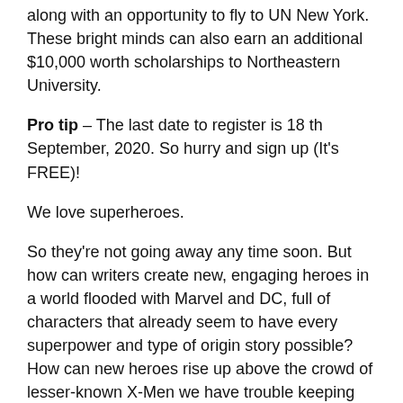along with an opportunity to fly to UN New York. These bright minds can also earn an additional $10,000 worth scholarships to Northeastern University.
Pro tip – The last date to register is 18 th September, 2020. So hurry and sign up (It's FREE)!
We love superheroes.
So they're not going away any time soon. But how can writers create new, engaging heroes in a world flooded with Marvel and DC, full of characters that already seem to have every superpower and type of origin story possible? How can new heroes rise up above the crowd of lesser-known X-Men we have trouble keeping straight, or the iconic iterations of Spider-Man and Batman that will be rebooted 'til Kingdom come?
This is the problem I've been facing off with as I develop my